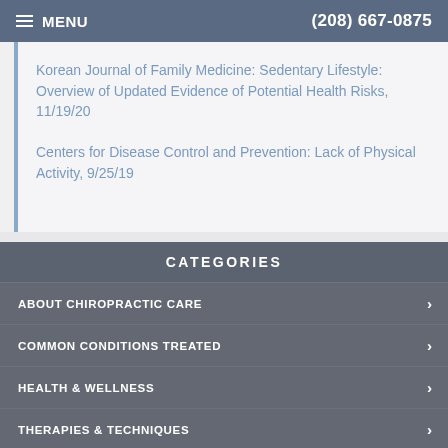MENU | (208) 667-0875
Korean Journal of Family Medicine: Sedentary Lifestyle: Overview of Updated Evidence of Potential Health Risks, 11/19/20
Centers for Disease Control and Prevention: Lack of Physical Activity, 9/25/19
CATEGORIES
ABOUT CHIROPRACTIC CARE
COMMON CONDITIONS TREATED
HEALTH & WELLNESS
THERAPIES & TECHNIQUES
NEWSLETTER LIBRARY
Accessibility View